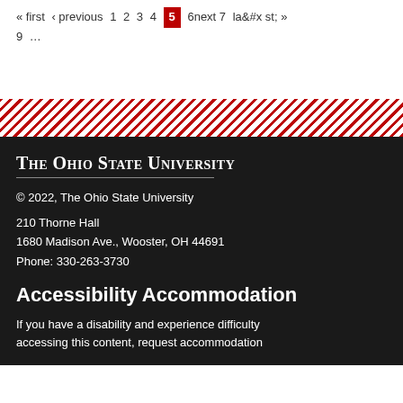« first ‹ previous 1 2 3 4 5 6next 7 last » 9 …
THE OHIO STATE UNIVERSITY
© 2022, The Ohio State University
210 Thorne Hall
1680 Madison Ave., Wooster, OH 44691
Phone: 330-263-3730
Accessibility Accommodation
If you have a disability and experience difficulty accessing this content, request accommodation